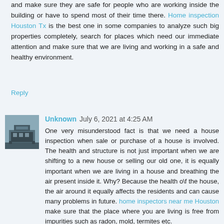and make sure they are safe for people who are working inside the building or have to spend most of their time there. Home inspection Houston Tx is the best one in some companies to analyze such big properties completely, search for places which need our immediate attention and make sure that we are living and working in a safe and healthy environment.
Reply
Unknown  July 6, 2021 at 4:25 AM
One very misunderstood fact is that we need a house inspection when sale or purchase of a house is involved. The health and structure is not just important when we are shifting to a new house or selling our old one, it is equally important when we are living in a house and breathing the air present inside it. Why? Because the health o\f the house, the air around it equally affects the residents and can cause many problems in future. home inspectors near me Houston make sure that the place where you are living is free from impurities such as radon, mold, termites etc.